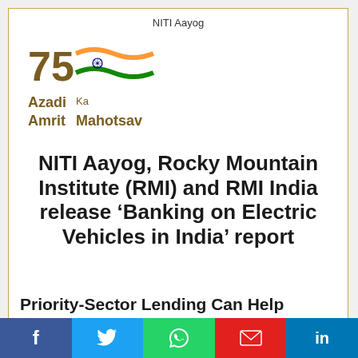NITI Aayog
[Figure (logo): Azadi Ka Amrit Mahotsav logo with Indian flag motif and '75' text]
NITI Aayog, Rocky Mountain Institute (RMI) and RMI India release ‘Banking on Electric Vehicles in India’ report
Priority-Sector Lending Can Help Unlock EV Financing